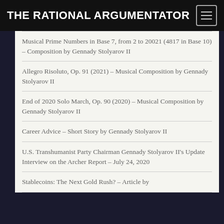THE RATIONAL ARGUMENTATOR
Musical Prime Numbers in Base 7, from 2 to 20021 (4817 in Base 10) – Composition by Gennady Stolyarov II
Allegro Risoluto, Op. 91 (2021) – Musical Composition by Gennady Stolyarov II
End of 2020 Solo March, Op. 90 (2020) – Musical Composition by Gennady Stolyarov II
Career Advice – Short Story by Gennady Stolyarov II
U.S. Transhumanist Party Chairman Gennady Stolyarov II's Update Interview on the Archer Report – July 24, 2020
Stablecoins: The Next Gold Rush? – Article by